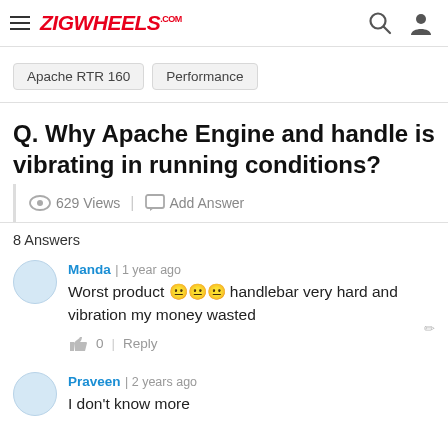ZIGWHEELS
Apache RTR 160   Performance
Q. Why Apache Engine and handle is vibrating in running conditions?
629 Views   Add Answer
8 Answers
Manda | 1 year ago
Worst product 😑😑😑 handlebar very hard and vibration my money wasted
0   Reply
Praveen | 2 years ago
I don't know more